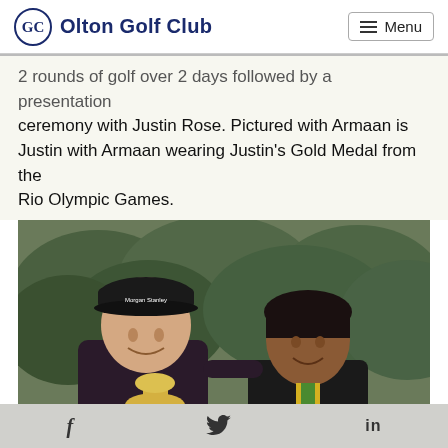Olton Golf Club  Menu
2 rounds of golf over 2 days followed by a presentation ceremony with Justin Rose. Pictured with Armaan is Justin with Armaan wearing Justin's Gold Medal from the Rio Olympic Games.
[Figure (photo): Two people posing for a photo outdoors in front of green hedges. On the left is a tall man in a dark sweater holding a large silver trophy cup; he wears a cap with 'Morgan Stanley' branding. On the right is a teenage boy wearing a dark jacket with a gold Olympic medal on a green/yellow ribbon around his neck. The boy's arm is around the man's shoulder.]
f  [twitter bird]  in